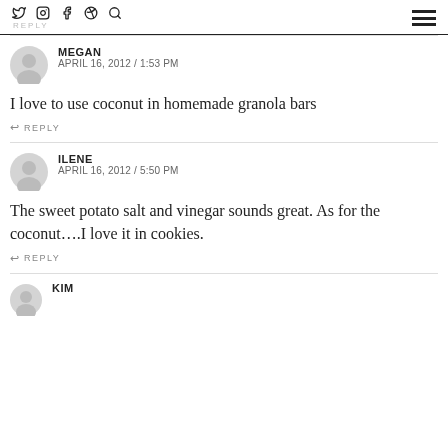Social icons: Twitter, Instagram, Facebook, Pinterest, Search. REPLY. Hamburger menu.
MEGAN
APRIL 16, 2012 / 1:53 PM
I love to use coconut in homemade granola bars
REPLY
ILENE
APRIL 16, 2012 / 5:50 PM
The sweet potato salt and vinegar sounds great. As for the coconut….I love it in cookies.
REPLY
KIM